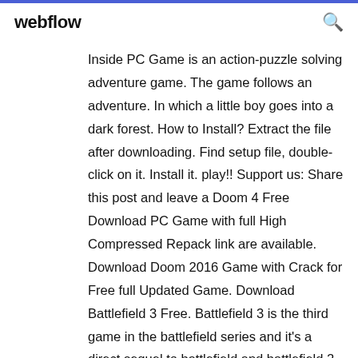webflow
Inside PC Game is an action-puzzle solving adventure game. The game follows an adventure. In which a little boy goes into a dark forest. How to Install? Extract the file after downloading. Find setup file, double-click on it. Install it. play!! Support us: Share this post and leave a Doom 4 Free Download PC Game with full High Compressed Repack link are available. Download Doom 2016 Game with Crack for Free full Updated Game. Download Battlefield 3 Free. Battlefield 3 is the third game in the battlefield series and it's a direct sequel to battlefield and battlefield 2. Battlefield 3 is a first person shooter war game developed and published by EA. Battlefield 3 PC G...